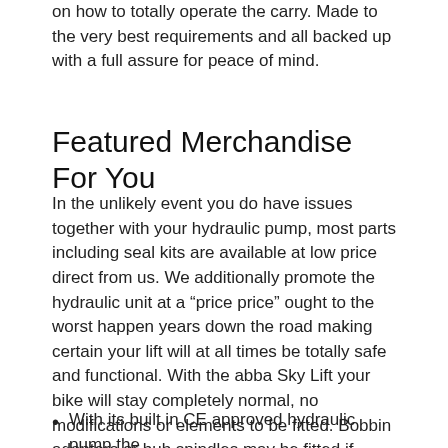on how to totally operate the carry. Made to the very best requirements and all backed up with a full assure for peace of mind.
Featured Merchandise For You
In the unlikely event you do have issues together with your hydraulic pump, most parts including seal kits are available at low price direct from us. We additionally promote the hydraulic unit at a “price price” ought to the worst happen years down the road making certain your lift will at all times be totally safe and functional. With the abba Sky Lift your bike will stay completely normal, no modifications or elements to be fitted. Bobbin adapters or hub spindles may be fitted if required and eliminated in seconds when finished.
With its built in CE approved hydraulic pump the